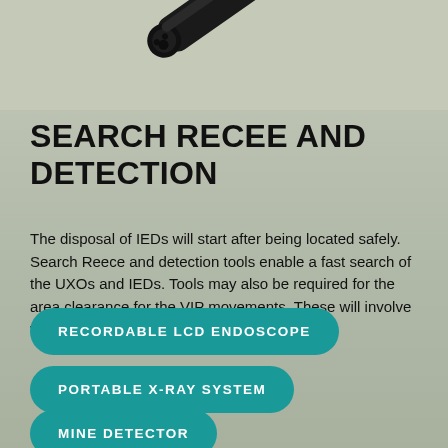[Figure (photo): Partial view of a dark cylindrical device (endoscope or similar instrument) photographed against a light grey-green background, cropped at the top of the page.]
SEARCH RECEE AND DETECTION
The disposal of IEDs will start after being located safely. Search Reece and detection tools enable a fast search of the UXOs and IEDs. Tools may also be required for the area clearance for the VIP movements. These will involve visual tools or material search tools.
RECORDABLE LCD ENDOSCOPE
PORTABLE X-RAY SYSTEM
MINE DETECTOR